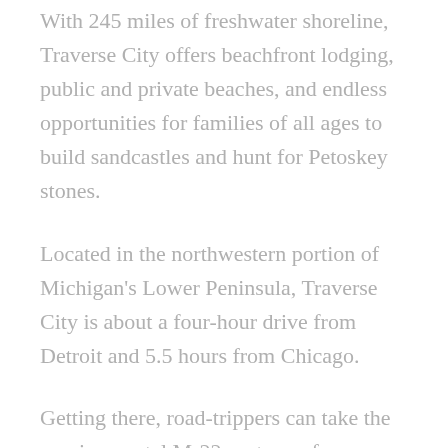With 245 miles of freshwater shoreline, Traverse City offers beachfront lodging, public and private beaches, and endless opportunities for families of all ages to build sandcastles and hunt for Petoskey stones.
Located in the northwestern portion of Michigan's Lower Peninsula, Traverse City is about a four-hour drive from Detroit and 5.5 hours from Chicago.
Getting there, road-trippers can take the scenic, coastal M-22 route, or, for a more direct arrival, fly into the Cherry Capital Airport.
In Traverse City, beachgoers can kayak across calm morning waters or splash in small waves mid-day at several public beaches. East Bay Park is a particularly good choice for multigenerational families due to its